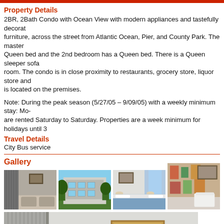Property Details
2BR, 2Bath Condo with Ocean View with modern appliances and tastefully decorated furniture, across the street from Atlantic Ocean, Pier, and County Park. The master has a Queen bed and the 2nd bedroom has a Queen bed. There is a Queen sleeper sofa in the living room. The condo is in close proximity to restaurants, grocery store, liquor store and is located on the premises.
Note: During the peak season (5/27/05 – 9/09/05) with a weekly minimum stay: Mo- are rented Saturday to Saturday. Properties are a week minimum for holidays until 3
Travel Details
City Bus service
Gallery
[Figure (photo): Four thumbnail photos of the condo property: interior bedroom, exterior building, bedroom with blue bedding, bathroom with colorful shower curtain]
[Figure (photo): Large photo of condo interior showing sliding glass door/curtains, framed artwork on wall, lamp, and sofa]